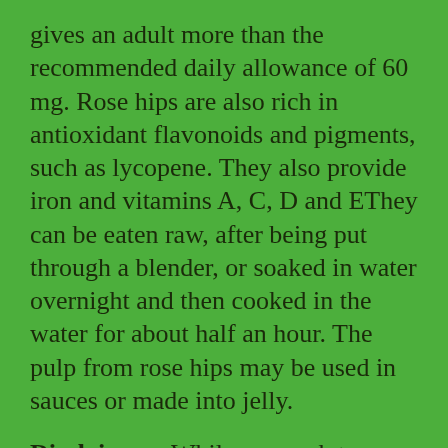gives an adult more than the recommended daily allowance of 60 mg. Rose hips are also rich in antioxidant flavonoids and pigments, such as lycopene. They also provide iron and vitamins A, C, D and EThey can be eaten raw, after being put through a blender, or soaked in water overnight and then cooked in the water for about half an hour. The pulp from rose hips may be used in sauces or made into jelly.
Disclaimer - While we work to ensure that product information is correct, on occasion manufacturers may alter their ingredient lists. Actual product packaging and materials may contain more and/or